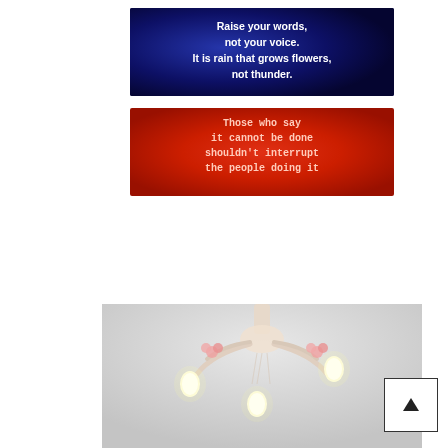[Figure (photo): Two motivational quote signs on a white background. Top sign: dark navy blue with white bold text reading 'Raise your words, not your voice. It is rain that grows flowers, not thunder.' Bottom sign: red/orange background with light pink text in typewriter font reading 'Those who say it cannot be done shouldn't interrupt the people doing it']
[Figure (photo): Close-up photo of an ornate glass chandelier with pink floral decorations, candle-style bulbs, and crystal or glass arms, photographed against a light gray background.]